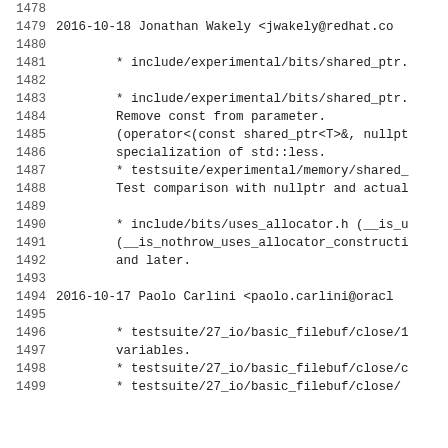1478  (empty)
1479  2016-10-18  Jonathan Wakely  <jwakely@redhat.co
1480  (empty)
1481          * include/experimental/bits/shared_ptr.
1482  (empty)
1483          * include/experimental/bits/shared_ptr.
1484          Remove const from parameter.
1485          (operator<(const shared_ptr<T>&, nullpt
1486          specialization of std::less.
1487          * testsuite/experimental/memory/shared_
1488          Test comparison with nullptr and actual
1489  (empty)
1490          * include/bits/uses_allocator.h (__is_u
1491          (__is_nothrow_uses_allocator_constructi
1492          and later.
1493  (empty)
1494  2016-10-17  Paolo Carlini  <paolo.carlini@oracl
1495  (empty)
1496          * testsuite/27_io/basic_filebuf/close/1
1497          variables.
1498          * testsuite/27_io/basic_filebuf/close/c
1499          * testsuite/27_io/basic_filebuf/close/